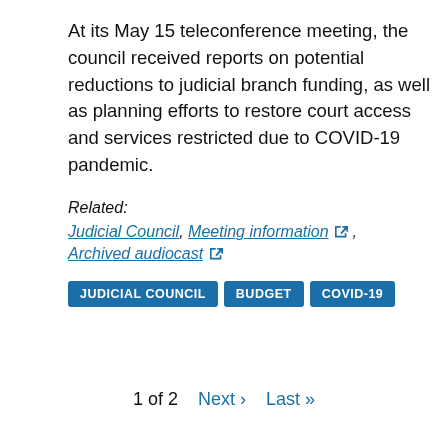At its May 15 teleconference meeting, the council received reports on potential reductions to judicial branch funding, as well as planning efforts to restore court access and services restricted due to COVID-19 pandemic.
Related:
Judicial Council, Meeting information [external link], Archived audiocast [external link]
JUDICIAL COUNCIL  BUDGET  COVID-19
1 of 2  Next ›  Last »